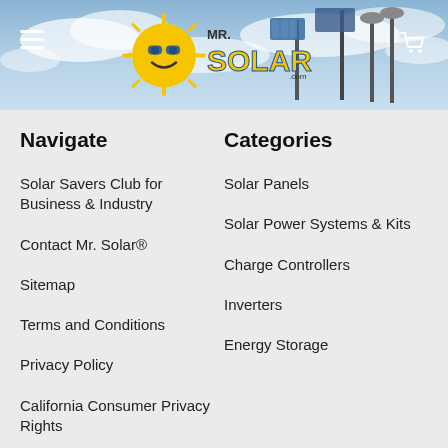[Figure (screenshot): Mr. Solar website header banner with logo, hamburger menu icon, and cart icon against a cloudy sky background with solar panels]
Navigate
Categories
Solar Savers Club for Business & Industry
Solar Panels
Contact Mr. Solar®
Solar Power Systems & Kits
Sitemap
Charge Controllers
Terms and Conditions
Inverters
Privacy Policy
Energy Storage
California Consumer Privacy Rights
Shipping and Returns